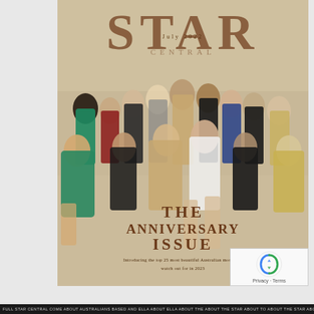[Figure (photo): Magazine cover of STAR Central, July 2022 Anniversary Issue. A group photo of approximately 25 young women dressed in elegant evening wear (black, green, red, white, gold dresses) posing together in a studio setting with a stone/tile backdrop. Some are seated, some standing. The magazine masthead 'STAR' appears in large dark serif letters at the top.]
THE ANNIVERSARY ISSUE
Introducing the top 25 most beautiful Australian models to watch out for in 2023
FULL STAR CENTRAL COME ABOUT AUSTRALIANS BASED AND ELLA ABOUT ELLA ABOUT THE ABOUT THE STAR ABOUT TO ABOUT THE